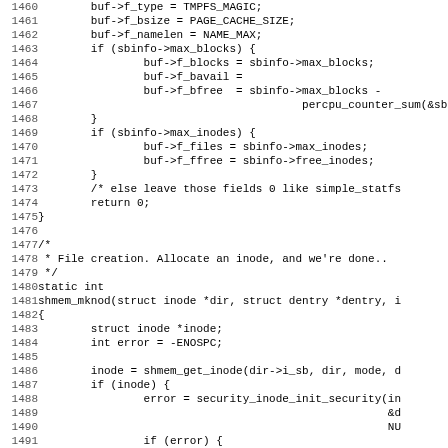[Figure (screenshot): Source code listing showing C code lines 1460-1491 from a Linux kernel file (shmem.c), displaying tmpfs statfs and shmem_mknod functions with line numbers on the left in monospace font.]